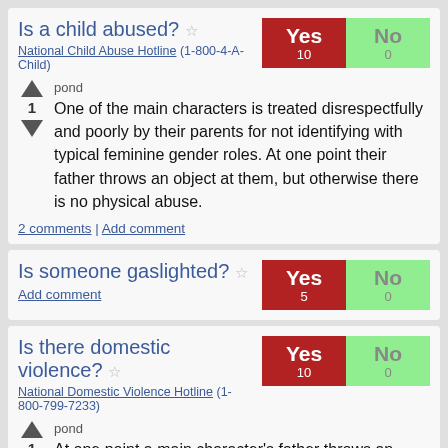Is a child abused?
National Child Abuse Hotline (1-800-4-A-Child)
Yes 10 | No 0
pond
One of the main characters is treated disrespectfully and poorly by their parents for not identifying with typical feminine gender roles. At one point their father throws an object at them, but otherwise there is no physical abuse.
2 comments | Add comment
Is someone gaslighted?
Add comment
Yes 5 | No 0
Is there domestic violence?
National Domestic Violence Hotline (1-800-799-7233)
Yes 10 | No 0
pond
At one point a main character's father throws an object at them, but there is otherwise no on-screen